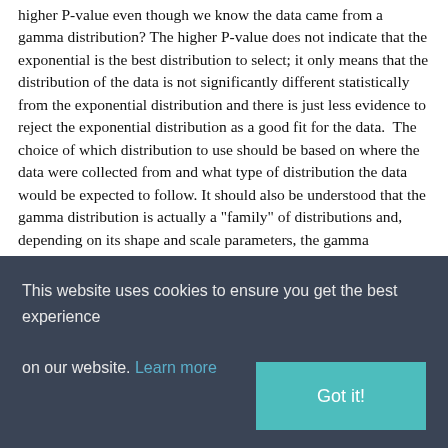higher P-value even though we know the data came from a gamma distribution? The higher P-value does not indicate that the exponential is the best distribution to select; it only means that the distribution of the data is not significantly different statistically from the exponential distribution and there is just less evidence to reject the exponential distribution as a good fit for the data.  The choice of which distribution to use should be based on where the data were collected from and what type of distribution the data would be expected to follow. It should also be understood that the gamma distribution is actually a "family" of distributions and, depending on its shape and scale parameters, the gamma distribution can closely follow the exponential distribution, which explains the results in Figure 5.
This website uses cookies to ensure you get the best experience on our website. Learn more